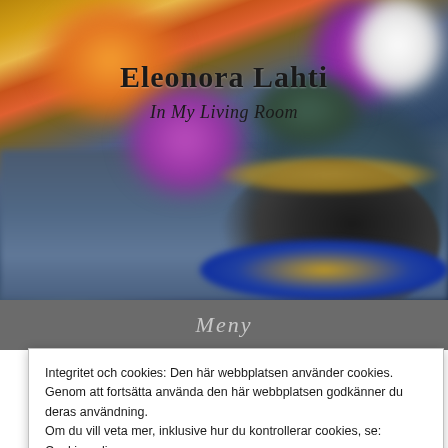[Figure (photo): Blurred background photo of colourful flowers (orange and purple tulips, white flowers) and a blue-and-gold china coffee cup on a saucer on a rustic blue-painted table.]
Eleonora Lahti
In My Living Room
Meny
Integritet och cookies: Den här webbplatsen använder cookies. Genom att fortsätta använda den här webbplatsen godkänner du deras användning.
Om du vill veta mer, inklusive hur du kontrollerar cookies, se: Cookie-policy
Stäng och acceptera